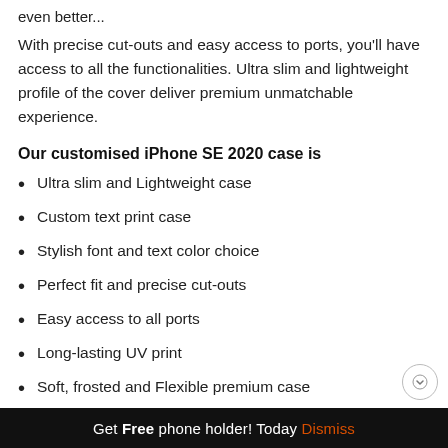even better...
With precise cut-outs and easy access to ports, you'll have access to all the functionalities. Ultra slim and lightweight profile of the cover deliver premium unmatchable experience.
Our customised iPhone SE 2020 case is
Ultra slim and Lightweight case
Custom text print case
Stylish font and text color choice
Perfect fit and precise cut-outs
Easy access to all ports
Long-lasting UV print
Soft, frosted and Flexible premium case
Get Free phone holder! Today Dismiss